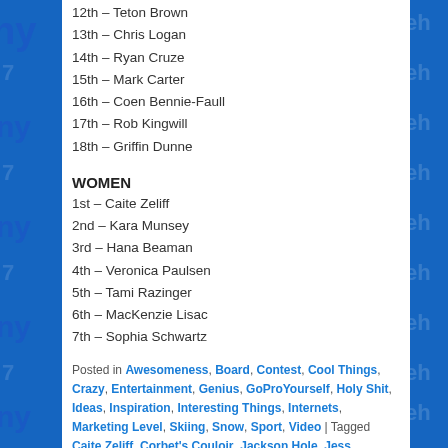12th – Teton Brown
13th – Chris Logan
14th – Ryan Cruze
15th – Mark Carter
16th – Coen Bennie-Faull
17th – Rob Kingwill
18th – Griffin Dunne
WOMEN
1st – Caite Zeliff
2nd – Kara Munsey
3rd – Hana Beaman
4th – Veronica Paulsen
5th – Tami Razinger
6th – MacKenzie Lisac
7th – Sophia Schwartz
Posted in Awesomeness, Board, Contest, Cool Things, Crazy, Entertainment, Genius, GoProYourself, Holy Shit, Ideas, Inspiration, Interesting Things, Internets, Marketing Level, Skiing, Snow, Sport, Video | Tagged Caite Zeliff, Corbet's Couloir, Jackson Hole, Jess McMillan, Karl Fostvedt, Kiera and Cornet's Couloir Ski...